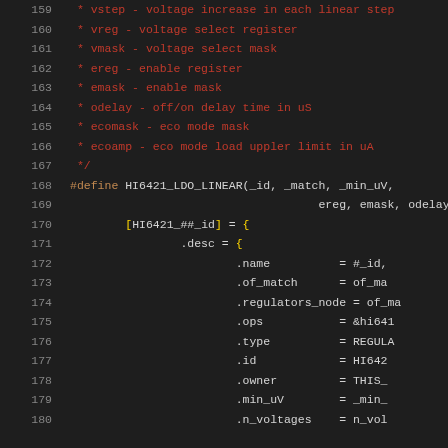Source code listing lines 159-180, C code with comments and macro definition for HI6421_LDO_LINEAR